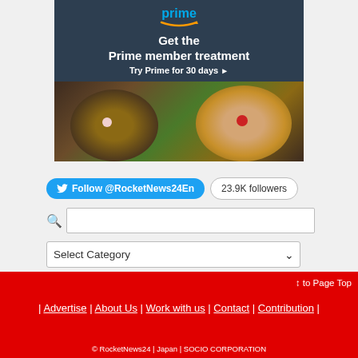[Figure (illustration): Amazon Prime advertisement banner with dark navy background showing 'prime' logo in blue, 'Get the Prime member treatment' headline in white bold text, 'Try Prime for 30 days ▸' subtext, and a photo of two people lying on grass with clown noses.]
Follow @RocketNews24En
23.9K followers
↕ to Page Top | Advertise | About Us | Work with us | Contact | Contribution |